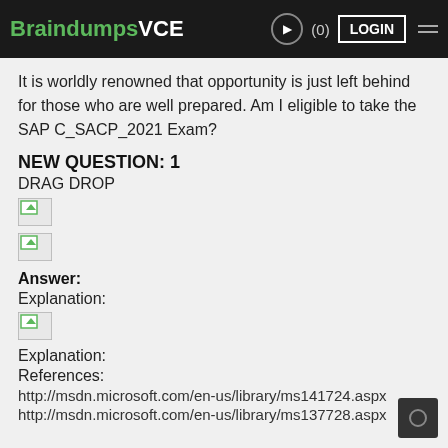BraindumpsVCE (0) LOGIN
It is worldly renowned that opportunity is just left behind for those who are well prepared. Am I eligible to take the SAP C_SACP_2021 Exam?
NEW QUESTION: 1
DRAG DROP
[Figure (other): Broken image placeholder 1]
[Figure (other): Broken image placeholder 2]
Answer:
Explanation:
[Figure (other): Broken image placeholder 3]
Explanation:
References:
http://msdn.microsoft.com/en-us/library/ms141724.aspx
http://msdn.microsoft.com/en-us/library/ms137728.aspx